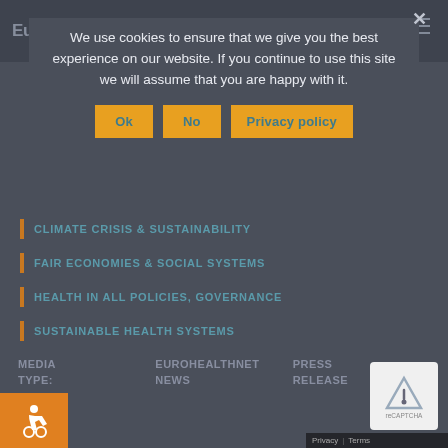EuroHealthNet
We use cookies to ensure that we give you the best experience on our website. If you continue to use this site we will assume that you are happy with it.
Ok
No
Privacy policy
CLIMATE CRISIS & SUSTAINABILITY
FAIR ECONOMIES & SOCIAL SYSTEMS
HEALTH IN ALL POLICIES, GOVERNANCE
SUSTAINABLE HEALTH SYSTEMS
MEDIA TYPE:
EUROHEALTHNET NEWS
PRESS RELEASE